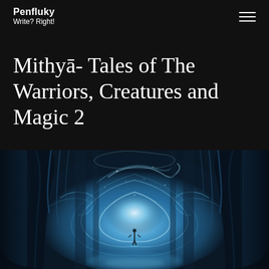Penfluky
Write? Right!
Mithyā- Tales of The Warriors, Creatures and Magic 2
[Figure (illustration): Fantasy illustration of a mystical forest cave or cavern with swirling blue magical energy, massive tree trunks, and a lone small figure standing in the center of a glowing blue vortex or portal]